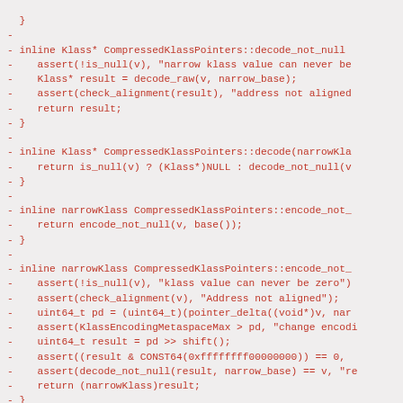Code diff showing removal of CompressedKlassPointers methods: decode_not_null, decode, encode_not_null (two variants), and encode.